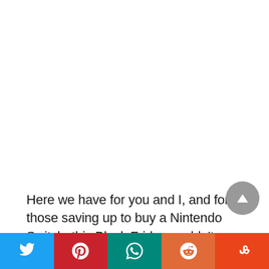[Figure (other): Large white blank area occupying the top portion of the page (advertisement or image placeholder)]
Here we have for you and I, and for those saving up to buy a Nintendo Switch, this Black Friday couldn't come any sooner. And rest assured, your holidays and even your holiday travels are going to be amazing, for this hybrid console has taken the
[Figure (infographic): Social sharing bar at the bottom with five buttons: Twitter (blue), Pinterest (red), WhatsApp (teal), Reddit (orange), StumbleUpon (deep orange). Each button shows the respective platform icon in white.]